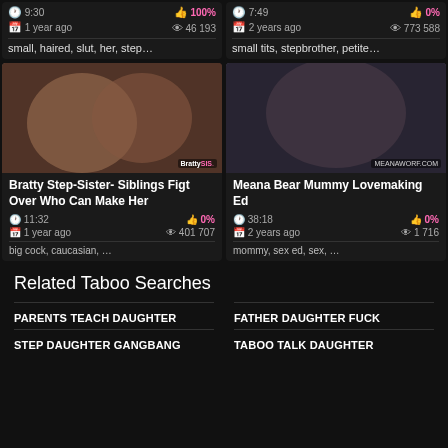[Figure (screenshot): Top partial strip: two video cards. Left: 9:30 duration, 100% likes, 1 year ago, 46 193 views, tags: small, haired, slut, her, step… Right: 7:49 duration, 0% likes, 2 years ago, 773 588 views, tags: small tits, stepbrother, petite…]
[Figure (photo): Bratty Step-Sister- Siblings Figt Over Who Can Make Her thumbnail]
Bratty Step-Sister- Siblings Figt Over Who Can Make Her
11:32 | 0% | 1 year ago | 401 707
big cock, caucasian, …
[Figure (photo): Meana Bear Mummy Lovemaking Ed thumbnail]
Meana Bear Mummy Lovemaking Ed
38:18 | 0% | 2 years ago | 1 716
mommy, sex ed, sex, …
Related Taboo Searches
PARENTS TEACH DAUGHTER
FATHER DAUGHTER FUCK
STEP DAUGHTER GANGBANG
TABOO TALK DAUGHTER